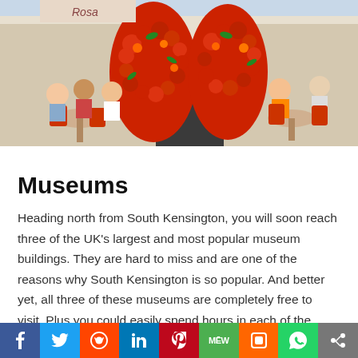[Figure (photo): Outdoor café scene with people sitting at tables with red chairs. A large decorative wall of red and orange flowers frames a shop entrance. Women are seated on both sides of the flower arch.]
Museums
Heading north from South Kensington, you will soon reach three of the UK's largest and most popular museum buildings. They are hard to miss and are one of the reasons why South Kensington is so popular. And better yet, all three of these museums are completely free to visit. Plus you could easily spend hours in each of the museums.
The Natural History Museum
[Figure (infographic): Social media sharing bar with icons for Facebook, Twitter, Reddit, LinkedIn, Pinterest, MeWe, Mix, WhatsApp, and Share]